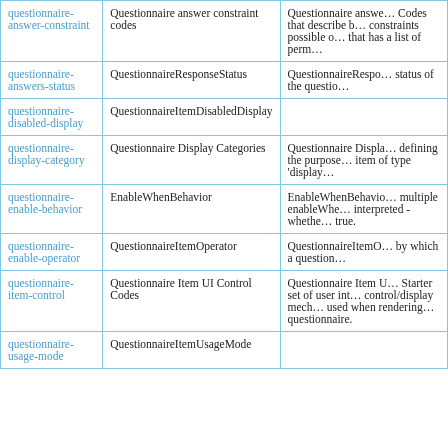| (link) | (name) | (description) |
| --- | --- | --- |
| questionnaire-answer-constraint | Questionnaire answer constraint codes | Questionnaire answe… Codes that describe b… constraints possible o… that has a list of perm… |
| questionnaire-answers-status | QuestionnaireResponseStatus | QuestionnaireRespo… status of the questio… |
| questionnaire-disabled-display | QuestionnaireItemDisabledDisplay |  |
| questionnaire-display-category | Questionnaire Display Categories | Questionnaire Displa… defining the purpose… item of type 'display… |
| questionnaire-enable-behavior | EnableWhenBehavior | EnableWhenBehavio… multiple enableWhe… interpreted - whethe… true. |
| questionnaire-enable-operator | QuestionnaireItemOperator | QuestionnaireItemO… by which a question… |
| questionnaire-item-control | Questionnaire Item UI Control Codes | Questionnaire Item U… Starter set of user int… control/display mech… used when rendering… questionnaire. |
| questionnaire-usage-mode | QuestionnaireItemUsageMode |  |